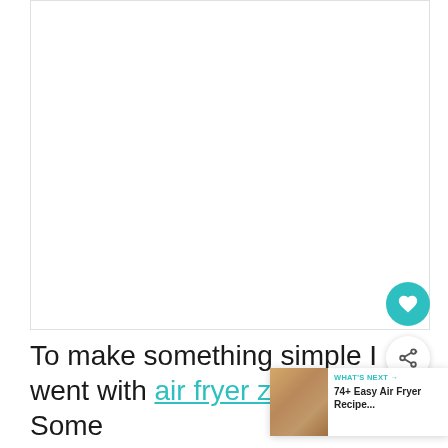[Figure (photo): Large white/blank image area representing a recipe photo placeholder]
To make something simple I went with air fryer zucchini boats. Some with taco meat and others just with